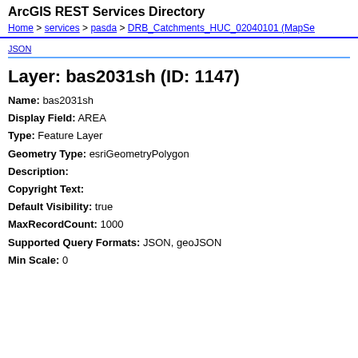ArcGIS REST Services Directory
Home > services > pasda > DRB_Catchments_HUC_02040101 (MapSe...
JSON
Layer: bas2031sh (ID: 1147)
Name: bas2031sh
Display Field: AREA
Type: Feature Layer
Geometry Type: esriGeometryPolygon
Description:
Copyright Text:
Default Visibility: true
MaxRecordCount: 1000
Supported Query Formats: JSON, geoJSON
Min Scale: 0